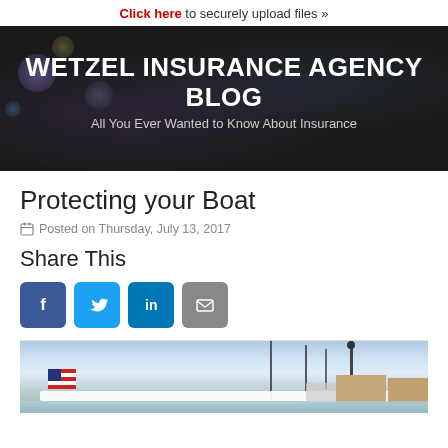Click here to securely upload files »
WETZEL INSURANCE AGENCY BLOG
All You Ever Wanted to Know About Insurance
Protecting your Boat
Posted on Thursday, July 13, 2017
Share This
[Figure (photo): Social share icons: Facebook, Twitter, LinkedIn, Email]
[Figure (photo): Photo of boats docked at a marina with masts, an American flag, and waterfront buildings in the background]